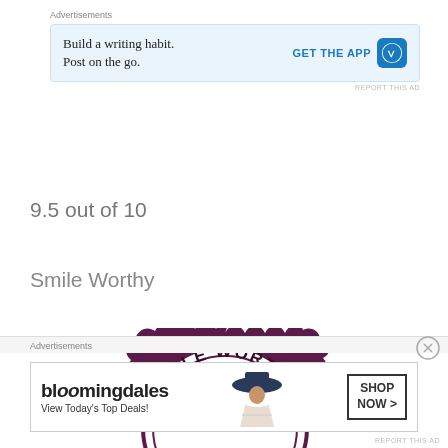Advertisements
[Figure (screenshot): WordPress app advertisement: 'Build a writing habit. Post on the go.' with GET THE APP button and WordPress logo]
REPORT THIS AD
9.5 out of 10
Smile Worthy
[Figure (illustration): Smile Worthy badge/seal graphic in purple with teal stars and brown mustache, partially cropped]
Advertisements
[Figure (screenshot): Bloomingdale's advertisement: 'View Today's Top Deals!' with SHOP NOW button and model with hat]
REPORT THIS AD